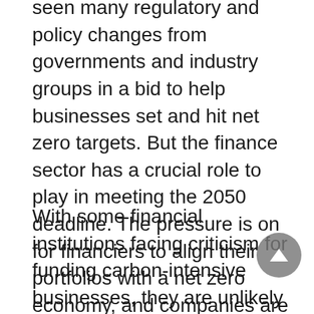seen many regulatory and policy changes from governments and industry groups in a bid to help businesses set and hit net zero targets. But the finance sector has a crucial role to play in meeting the 2050 deadline. The pressure is on for financiers to align their portfolios with a net zero economy, and companies are realising that they must make sustainability a priority if they want to secure funding for the future.
With some financial institutions facing criticism for funding carbon-intensive businesses, they are unlikely to be the first group that springs to mind when thinking of climate activists. But a survey by Addleshaw Goddard – conducted among 1000 European business leaders, funders, investors and